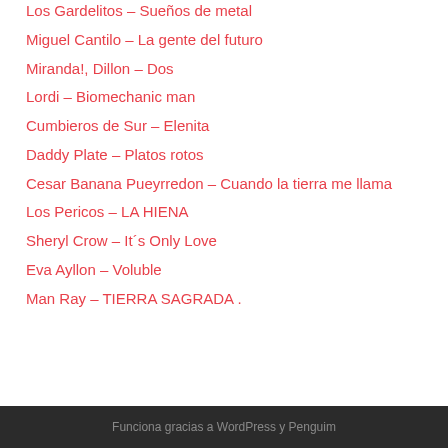Los Gardelitos – Sueños de metal
Miguel Cantilo – La gente del futuro
Miranda!, Dillon – Dos
Lordi – Biomechanic man
Cumbieros de Sur – Elenita
Daddy Plate – Platos rotos
Cesar Banana Pueyrredon – Cuando la tierra me llama
Los Pericos – LA HIENA
Sheryl Crow – It´s Only Love
Eva Ayllon – Voluble
Man Ray – TIERRA SAGRADA .
Funciona gracias a WordPress y Penguim